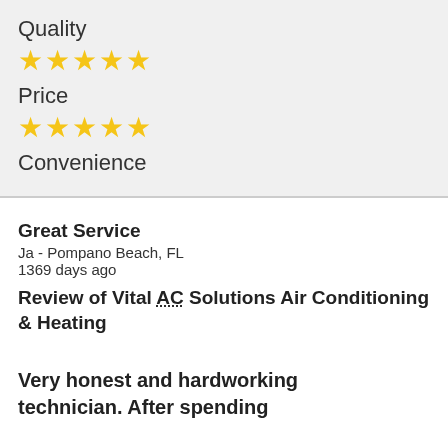Quality
[Figure (other): 5 yellow stars rating for Quality]
Price
[Figure (other): 5 yellow stars rating for Price]
Convenience
Great Service
Ja - Pompano Beach, FL
1369 days ago
Review of Vital AC Solutions Air Conditioning & Heating
Very honest and hardworking technician. After spending